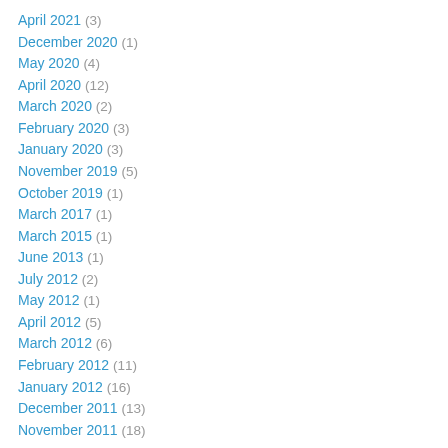April 2021 (3)
December 2020 (1)
May 2020 (4)
April 2020 (12)
March 2020 (2)
February 2020 (3)
January 2020 (3)
November 2019 (5)
October 2019 (1)
March 2017 (1)
March 2015 (1)
June 2013 (1)
July 2012 (2)
May 2012 (1)
April 2012 (5)
March 2012 (6)
February 2012 (11)
January 2012 (16)
December 2011 (13)
November 2011 (18)